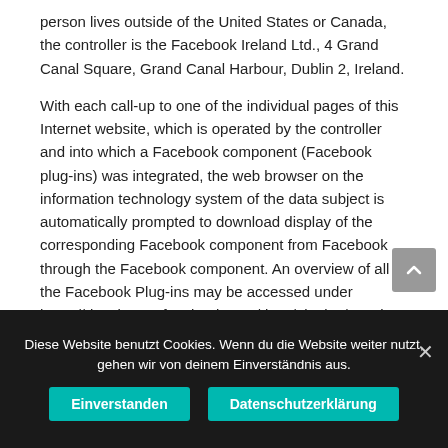person lives outside of the United States or Canada, the controller is the Facebook Ireland Ltd., 4 Grand Canal Square, Grand Canal Harbour, Dublin 2, Ireland.
With each call-up to one of the individual pages of this Internet website, which is operated by the controller and into which a Facebook component (Facebook plug-ins) was integrated, the web browser on the information technology system of the data subject is automatically prompted to download display of the corresponding Facebook component from Facebook through the Facebook component. An overview of all the Facebook Plug-ins may be accessed under https://developers.facebook.com/docs/plugins/. During the course of this technical procedure, Facebook is
Diese Website benutzt Cookies. Wenn du die Website weiter nutzt, gehen wir von deinem Einverständnis aus.
Einverstanden
Datenschutzerklärung